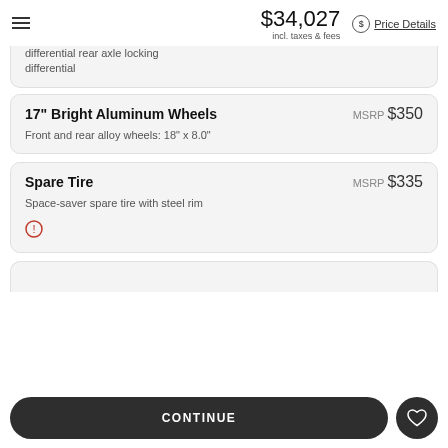$34,027 incl. taxes & fees Price Details
differential
17" Bright Aluminum Wheels MSRP $350
Front and rear alloy wheels: 18" x 8.0"
Spare Tire MSRP $335
Space-saver spare tire with steel rim